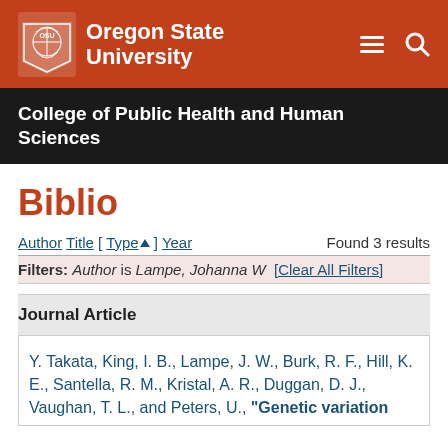[Figure (logo): Oregon State University logo with shield and text on orange/red header bar with hamburger menu and search icon]
College of Public Health and Human Sciences
Biblio
Author Title [ Type▲ ] Year   Found 3 results
Filters: Author is Lampe, Johanna W  [Clear All Filters]
Journal Article
Y. Takata, King, I. B., Lampe, J. W., Burk, R. F., Hill, K. E., Santella, R. M., Kristal, A. R., Duggan, D. J., Vaughan, T. L., and Peters, U., "Genetic variation